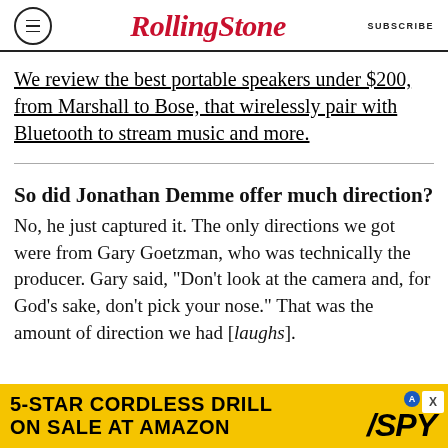RollingStone | SUBSCRIBE
We review the best portable speakers under $200, from Marshall to Bose, that wirelessly pair with Bluetooth to stream music and more.
So did Jonathan Demme offer much direction?
No, he just captured it. The only directions we got were from Gary Goetzman, who was technically the producer. Gary said, “Don’t look at the camera and, for God’s sake, don’t pick your nose.” That was the amount of direction we had [laughs].
[Figure (infographic): Advertisement banner: 5-STAR CORDLESS DRILL ON SALE AT AMAZON with SPY logo on yellow background]